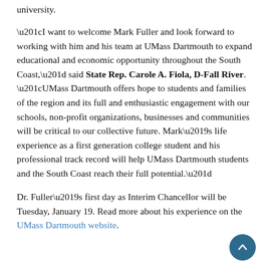university.
“I want to welcome Mark Fuller and look forward to working with him and his team at UMass Dartmouth to expand educational and economic opportunity throughout the South Coast,” said State Rep. Carole A. Fiola, D-Fall River. “UMass Dartmouth offers hope to students and families of the region and its full and enthusiastic engagement with our schools, non-profit organizations, businesses and communities will be critical to our collective future. Mark’s life experience as a first generation college student and his professional track record will help UMass Dartmouth students and the South Coast reach their full potential.”
Dr. Fuller’s first day as Interim Chancellor will be Tuesday, January 19. Read more about his experience on the UMass Dartmouth website.